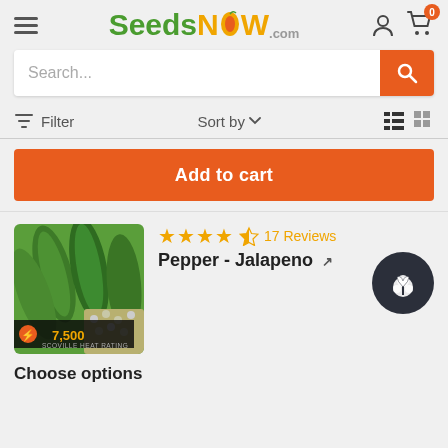SeedsNOW.com
Search...
Filter   Sort by
Add to cart
[Figure (photo): Jalapeno pepper seeds product image with 7,500 Scoville heat rating badge]
17 Reviews
Pepper - Jalapeno
Choose options